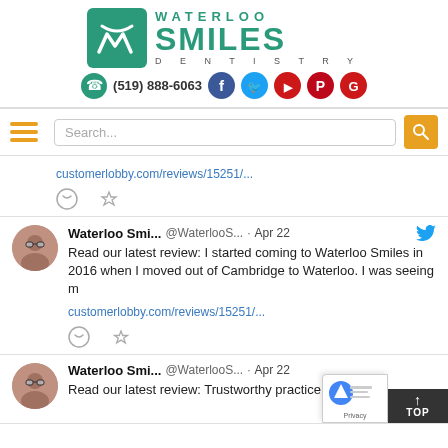[Figure (logo): Waterloo Smiles Dentistry logo with teal W icon and teal text]
(519) 888-6063
[Figure (infographic): Social media icons: Facebook, Twitter, YouTube, Pinterest, Google]
[Figure (infographic): Navigation bar with hamburger menu, search box, and search button]
customerlobby.com/reviews/15251/...
Waterloo Smi... @WaterlooS... · Apr 22
Read our latest review: I started coming to Waterloo Smiles in 2016 when I moved out of Cambridge to Waterloo. I was seeing m
customerlobby.com/reviews/15251/...
Waterloo Smi... @WaterlooS... · Apr 22
Read our latest review: Trustworthy practice and